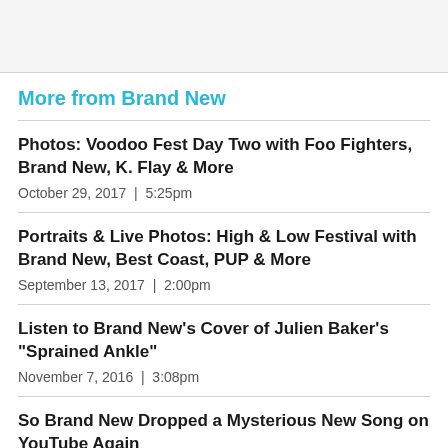More from Brand New
Photos: Voodoo Fest Day Two with Foo Fighters, Brand New, K. Flay & More
October 29, 2017  |  5:25pm
Portraits & Live Photos: High & Low Festival with Brand New, Best Coast, PUP & More
September 13, 2017  |  2:00pm
Listen to Brand New's Cover of Julien Baker's "Sprained Ankle"
November 7, 2016  |  3:08pm
So Brand New Dropped a Mysterious New Song on YouTube Again
May 18, 2016  |  4:53pm
Modest Mouse And Brand New Will Co-Headline A Summer Tour